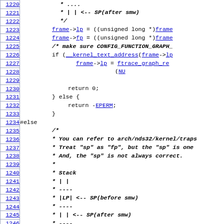Source code listing lines 1220-1249 of a Linux kernel C file
1220: *     ....
1221: *      |  | <-- SP(after smw)
1222:      */
1223:      frame->lp = ((unsigned long *)frame
1224:      frame->fp = ((unsigned long *)frame
1225:      /* make sure CONFIG_FUNCTION_GRAPH_
1226:      if (__kernel_text_address(frame->lp
1227:                frame->lp = ftrace_graph_re
1228:                                         (NU
1229: (blank)
1230:            return 0;
1231:      } else {
1232:            return -EPERM;
1233:      }
1234: #else
1235:      /*
1236:       * You can refer to arch/nds32/kernel/traps
1237:       * Treat "sp" as "fp", but the "sp" is one
1238:       * And, the "sp" is not always correct.
1239:       *
1240:       *    Stack
1241:       *    | |
1242:       *    ----
1243:       *    |LP| <-- SP(before smw)
1244:       *    ----
1245:       *    |  | <-- SP(after smw)
1246:       *    ----
1247:       */
1248:      if (!kstack_end((void *)frame->sp)) {
1249:            frame->lp = ((unsigned long *)frame